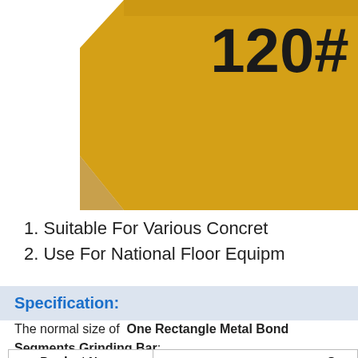[Figure (photo): Product photo showing a yellow hexagonal/angular grinding bar with '120#' printed on it in large dark text]
1. Suitable For Various Concret
2. Use For National Floor Equipm
Specification:
The normal size of One Rectangle Metal Bond Segments Grinding Bar:
| Product Name |  |
| --- | --- |
| Segment Shape | Rectangle Shape |
| Place of Origin | Fujian, China |
| Item No. | BW-NF-B010-01 |